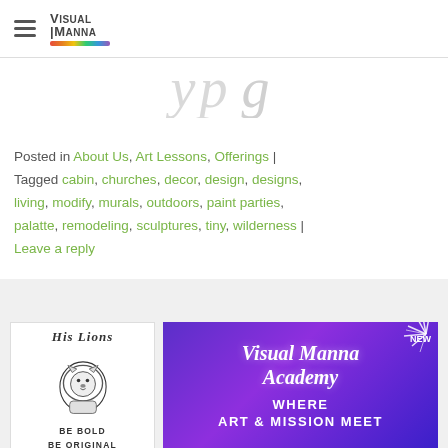Visual Manna
[Figure (screenshot): Partial italic script text visible at top of page, cropped]
Posted in About Us, Art Lessons, Offerings | Tagged cabin, churches, decor, design, designs, living, modify, murals, outdoors, paint parties, palatte, remodeling, sculptures, tiny, wilderness | Leave a reply
[Figure (illustration): His Lions logo: a lion illustration with text BE BOLD BE ORIGINAL BE EXCELLENT]
[Figure (infographic): Visual Manna Academy - WHERE ART & MISSION MEET on purple/blue gradient background with starburst NEW badge]